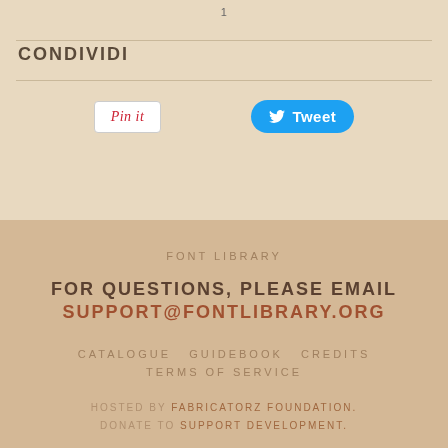1
CONDIVIDI
[Figure (screenshot): Pin it button and Tweet button side by side]
FONT LIBRARY
FOR QUESTIONS, PLEASE EMAIL SUPPORT@FONTLIBRARY.ORG
CATALOGUE  GUIDEBOOK  CREDITS  TERMS OF SERVICE
HOSTED BY FABRICATORZ FOUNDATION. DONATE TO SUPPORT DEVELOPMENT.